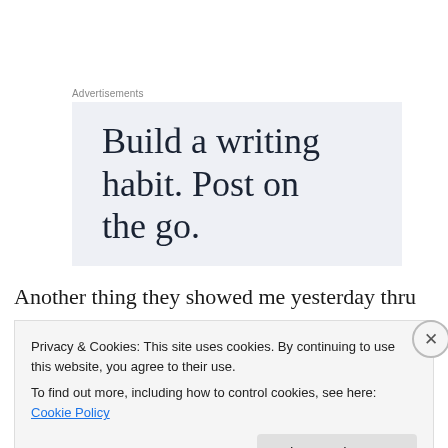Advertisements
[Figure (illustration): Advertisement banner with light blue-grey background displaying the text 'Build a writing habit. Post on the go.' in large serif font.]
Another thing they showed me yesterday thru the
Privacy & Cookies: This site uses cookies. By continuing to use this website, you agree to their use.
To find out more, including how to control cookies, see here: Cookie Policy
Close and accept